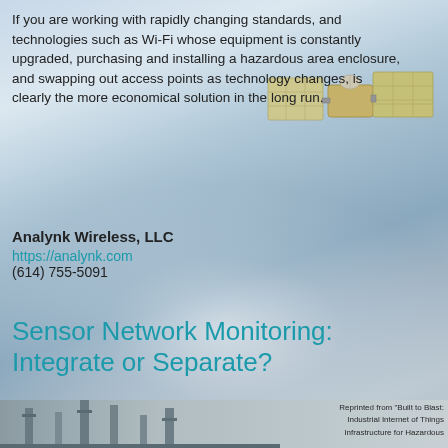If you are working with rapidly changing standards, and technologies such as Wi-Fi whose equipment is constantly upgraded, purchasing and installing a hazardous area enclosure, and swapping out access points as technology changes, is clearly the more economical solution in the long run.
[Figure (photo): Satellite orbiting Earth with solar panels, sky and cloud background]
Analynk Wireless, LLC
https://analynk.com
(614) 755-5091
Sensor Network Monitoring: Integrate or Separate?
[Figure (photo): Industrial facility with chimneys/towers at bottom strip]
Reprinted from "Built to Blast: Industrial Internet of Things Infrastructure for Hazardous